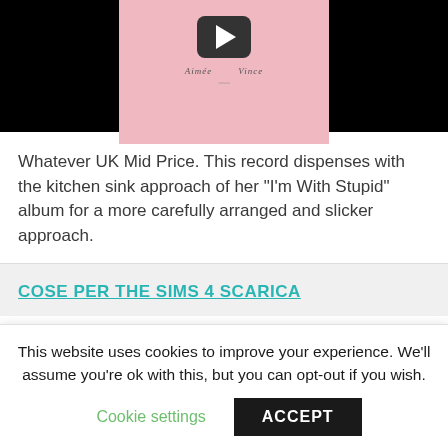[Figure (screenshot): YouTube-style video thumbnail with black bars on sides, pink center with play button and cursive text overlay]
Whatever UK Mid Price. This record dispenses with the kitchen sink approach of her “I’m With Stupid” album for a more carefully arranged and slicker approach.
COSE PER THE SIMS 4 SCARICA
This website uses cookies to improve your experience. We’ll assume you’re ok with this, but you can opt-out if you wish.
Cookie settings
ACCEPT